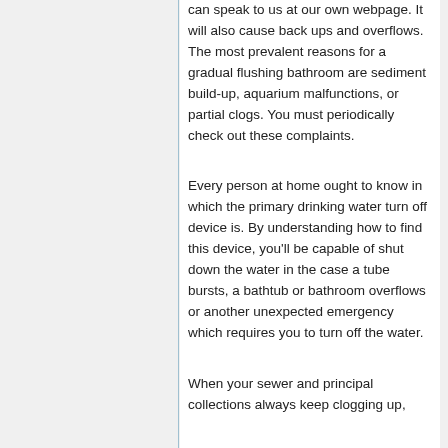can speak to us at our own webpage. It will also cause back ups and overflows. The most prevalent reasons for a gradual flushing bathroom are sediment build-up, aquarium malfunctions, or partial clogs. You must periodically check out these complaints.
Every person at home ought to know in which the primary drinking water turn off device is. By understanding how to find this device, you'll be capable of shut down the water in the case a tube bursts, a bathtub or bathroom overflows or another unexpected emergency which requires you to turn off the water.
When your sewer and principal collections always keep clogging up,